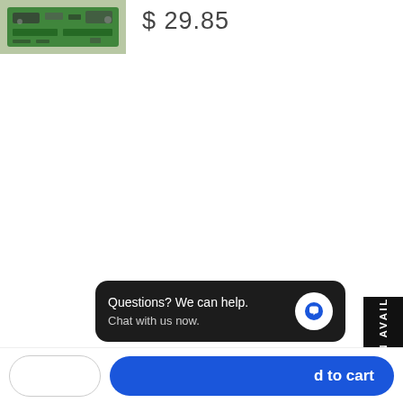[Figure (photo): Small green circuit board / PCB product image thumbnail]
$ 29.85
[Figure (other): NOTIFY WHEN AVAILABLE vertical black button on right side]
[Figure (other): Chat popup bubble: 'Questions? We can help. Chat with us now.' with chat icon]
d to cart